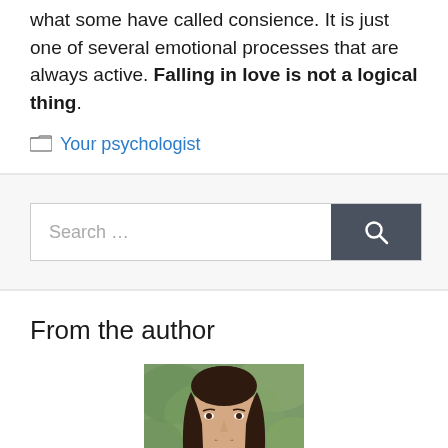what some have called consience. It is just one of several emotional processes that are always active. Falling in love is not a logical thing.
Your psychologist
[Figure (screenshot): Search bar with text input placeholder 'Search ...' and a dark gray search button with magnifying glass icon]
From the author
[Figure (photo): Portrait photo of a woman with long dark brown hair against a greenish outdoor background, cropped at chin/neck level]